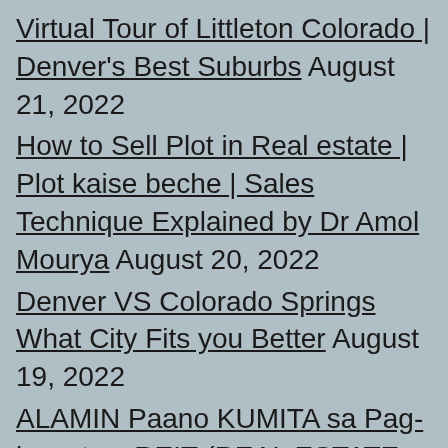Virtual Tour of Littleton Colorado | Denver's Best Suburbs August 21, 2022
How to Sell Plot in Real estate | Plot kaise beche | Sales Technique Explained by Dr Amol Mourya August 20, 2022
Denver VS Colorado Springs What City Fits you Better August 19, 2022
ALAMIN Paano KUMITA sa Pag-invest sa REIT (REAL ESTATE INVESTMENT TRUST) August 18, 2022
Worst Park in America? My Experience at Elitch Gardens – Denver, Colorado August 17, 2022
Real Estate Investing Rules You MUST Know (The